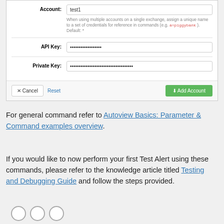[Figure (screenshot): Form screenshot showing Account field with value 'test1', hint text about multiple accounts with code example 'a=piggybank', API Key field with masked value, Private Key field with masked value, and buttons: Cancel, Reset, Add Account]
For general command refer to Autoview Basics: Parameter & Command examples overview.
If you would like to now perform your first Test Alert using these commands, please refer to the knowledge article titled Testing and Debugging Guide and follow the steps provided.